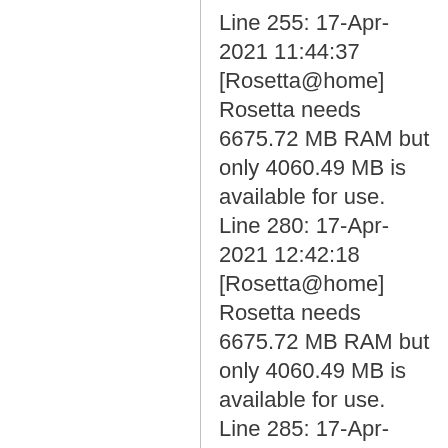Line 255: 17-Apr-2021 11:44:37 [Rosetta@home] Rosetta needs 6675.72 MB RAM but only 4060.49 MB is available for use.
Line 280: 17-Apr-2021 12:42:18 [Rosetta@home] Rosetta needs 6675.72 MB RAM but only 4060.49 MB is available for use.
Line 285: 17-Apr-2021 12:55:06 [Rosetta@home] Rosetta needs 6675.72 MB RAM but only 4060.49 MB is available for use.
Line 326: 18-Apr-2021 00:32:45 [Rosetta@home] Rosetta needs 6675.72 MB RAM but only 4060.49 MB